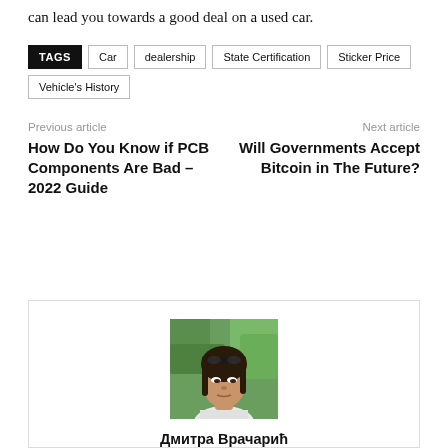can lead you towards a good deal on a used car.
TAGS  Car  dealership  State Certification  Sticker Price  Vehicle's History
Previous article
How Do You Know if PCB Components Are Bad – 2022 Guide
Next article
Will Governments Accept Bitcoin in The Future?
[Figure (photo): Author photo of Дмитра Врачарић, a woman with dark hair looking down, outdoors with green foliage background]
Дмитра Врачарић